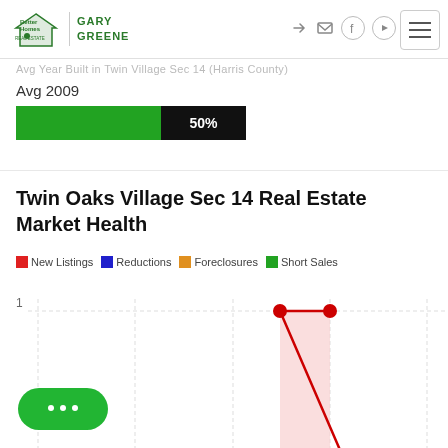Better Homes and Gardens Real Estate | Gary Greene
Avg 2009
[Figure (bar-chart): A horizontal progress bar showing 50% in green and black]
Twin Oaks Village Sec 14 Real Estate Market Health
New Listings  Reductions  Foreclosures  Short Sales
[Figure (line-chart): Line chart showing New Listings data with a red line, y-axis label 1 visible, partial chart at bottom of page]